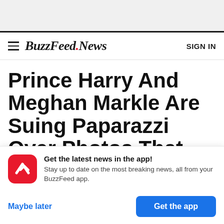BuzzFeed.News | SIGN IN
Prince Harry And Meghan Markle Are Suing Paparazzi Over Photos That Were
[Figure (logo): BuzzFeed red arrow logo icon]
Get the latest news in the app! Stay up to date on the most breaking news, all from your BuzzFeed app.
Maybe later
Get the app